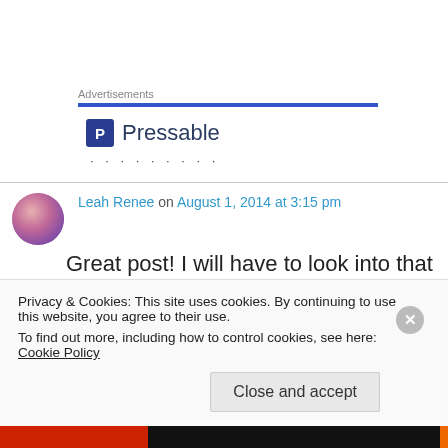Advertisements
[Figure (logo): Pressable logo with icon and text and dots below]
Leah Renee on August 1, 2014 at 3:15 pm
Great post! I will have to look into that cup (I'm in LA) but in the meantime love the ones I usually
Privacy & Cookies: This site uses cookies. By continuing to use this website, you agree to their use.
To find out more, including how to control cookies, see here: Cookie Policy
Close and accept